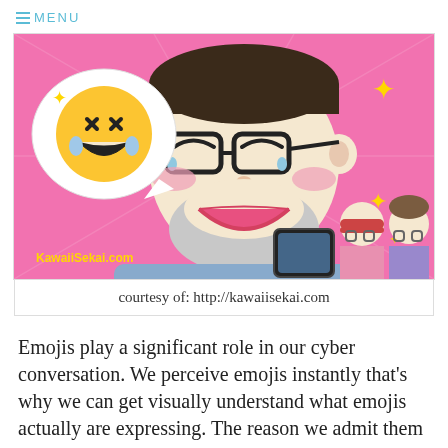≡ MENU
[Figure (illustration): Kawaii-style cartoon illustration of a smiling bearded man with glasses laughing and looking at a phone/tablet, with a speech bubble showing the crying-laughing emoji. Two smaller cartoon children stand behind him. Pink background with sparkle effects. Watermark: KawaiiSekai.com]
courtesy of: http://kawaiisekai.com
Emojis play a significant role in our cyber conversation. We perceive emojis instantly that's why we can get visually understand what emojis actually are expressing. The reason we admit them so rapidly and easily is that emojis are